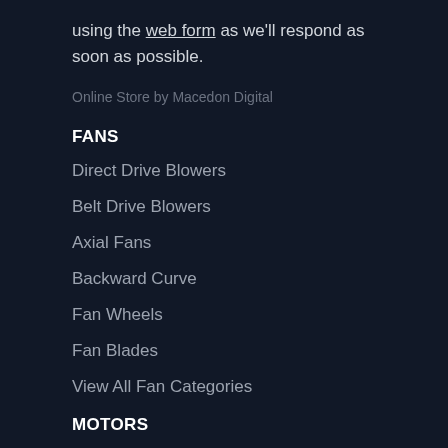using the web form as we'll respond as soon as possible.
Online Store by Macedon Digital
FANS
Direct Drive Blowers
Belt Drive Blowers
Axial Fans
Backward Curve
Fan Wheels
Fan Blades
View All Fan Categories
MOTORS